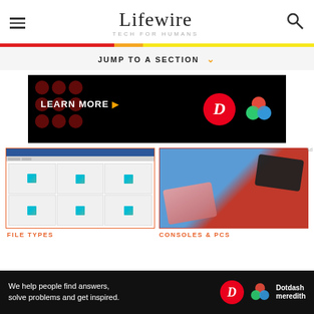Lifewire — TECH FOR HUMANS
JUMP TO A SECTION
[Figure (screenshot): Lifewire advertisement banner — LEARN MORE with D and Dotdash Meredith logos on black background]
[Figure (screenshot): Windows file explorer showing 6 shortcut icons in a grid]
[Figure (photo): Two Nintendo DS handheld gaming consoles (pink and black) on a blue and red background]
FILE TYPES
CONSOLES & PCS
[Figure (infographic): Bottom advertisement bar: We help people find answers, solve problems and get inspired. Dotdash Meredith logo.]